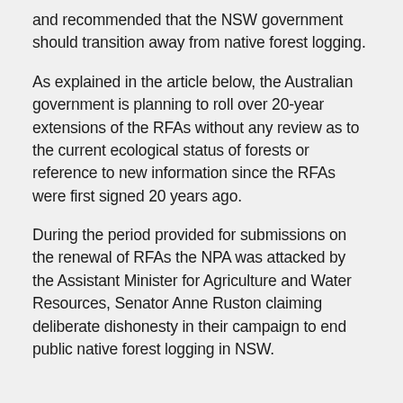and recommended that the NSW government should transition away from native forest logging.
As explained in the article below, the Australian government is planning to roll over 20-year extensions of the RFAs without any review as to the current ecological status of forests or reference to new information since the RFAs were first signed 20 years ago.
During the period provided for submissions on the renewal of RFAs the NPA was attacked by the Assistant Minister for Agriculture and Water Resources, Senator Anne Ruston claiming deliberate dishonesty in their campaign to end public native forest logging in NSW.